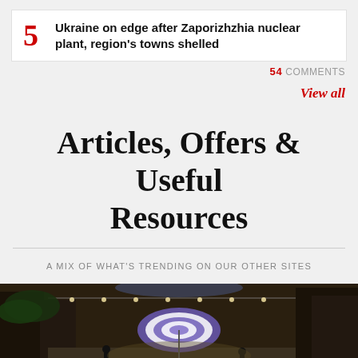5 Ukraine on edge after Zaporizhzhia nuclear plant, region's towns shelled
54 COMMENTS
View all
Articles, Offers & Useful Resources
A MIX OF WHAT'S TRENDING ON OUR OTHER SITES
[Figure (photo): Street scene with Japanese-style buildings and illuminated umbrellas]